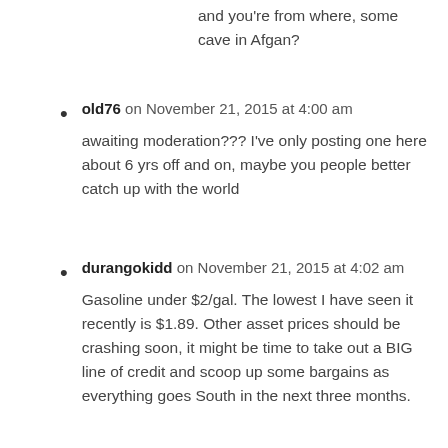and you're from where, some cave in Afgan?
old76 on November 21, 2015 at 4:00 am — awaiting moderation??? I've only posting one here about 6 yrs off and on, maybe you people better catch up with the world
durangokidd on November 21, 2015 at 4:02 am — Gasoline under $2/gal. The lowest I have seen it recently is $1.89. Other asset prices should be crashing soon, it might be time to take out a BIG line of credit and scoop up some bargains as everything goes South in the next three months.